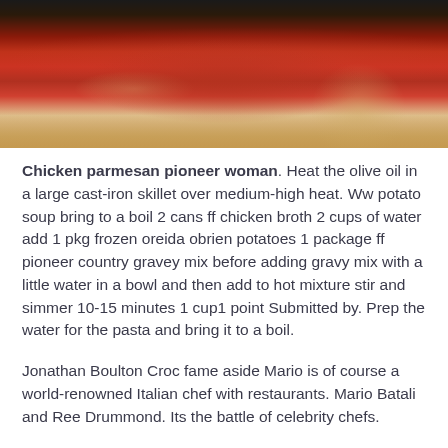[Figure (photo): Overhead photo of a plate of pasta or chicken parmesan dish with red tomato sauce, viewed from above on a dark background with a decorative plate edge visible]
Chicken parmesan pioneer woman. Heat the olive oil in a large cast-iron skillet over medium-high heat. Ww potato soup bring to a boil 2 cans ff chicken broth 2 cups of water add 1 pkg frozen oreida obrien potatoes 1 package ff pioneer country gravey mix before adding gravy mix with a little water in a bowl and then add to hot mixture stir and simmer 10-15 minutes 1 cup1 point Submitted by. Prep the water for the pasta and bring it to a boil.
Jonathan Boulton Croc fame aside Mario is of course a world-renowned Italian chef with restaurants. Mario Batali and Ree Drummond. Its the battle of celebrity chefs.